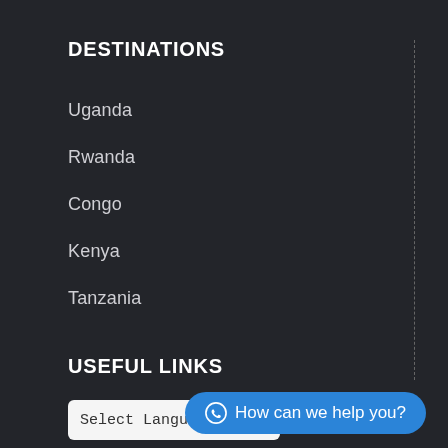DESTINATIONS
Uganda
Rwanda
Congo
Kenya
Tanzania
USEFUL LINKS
Select Language
How can we help you?